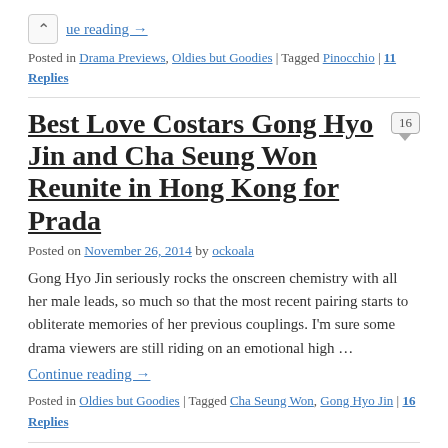ue reading →
Posted in Drama Previews, Oldies but Goodies | Tagged Pinocchio | 11 Replies
Best Love Costars Gong Hyo Jin and Cha Seung Won Reunite in Hong Kong for Prada
Posted on November 26, 2014 by ockoala
Gong Hyo Jin seriously rocks the onscreen chemistry with all her male leads, so much so that the most recent pairing starts to obliterate memories of her previous couplings. I'm sure some drama viewers are still riding on an emotional high …
Continue reading →
Posted in Oldies but Goodies | Tagged Cha Seung Won, Gong Hyo Jin | 16 Replies
Oldies But Goodies: Yoon Eun